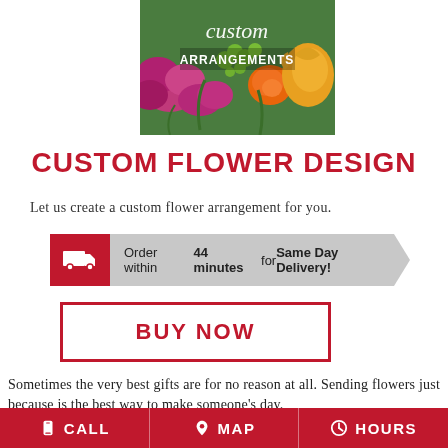[Figure (photo): Colorful custom flower arrangement with roses, carnations, and green berries with text overlay reading 'custom ARRANGEMENTS']
CUSTOM FLOWER DESIGN
Let us create a custom flower arrangement for you.
Order within 44 minutes for Same Day Delivery!
BUY NOW
Sometimes the very best gifts are for no reason at all. Sending flowers just because is the best way to make someone's day.
CALL  MAP  HOURS